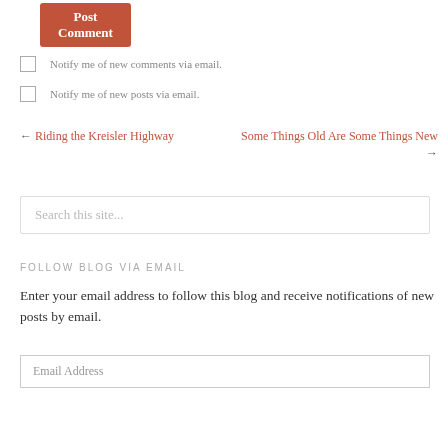Post Comment
Notify me of new comments via email.
Notify me of new posts via email.
← Riding the Kreisler Highway    Some Things Old Are Some Things New →
Search this site...
FOLLOW BLOG VIA EMAIL
Enter your email address to follow this blog and receive notifications of new posts by email.
Email Address
Follow